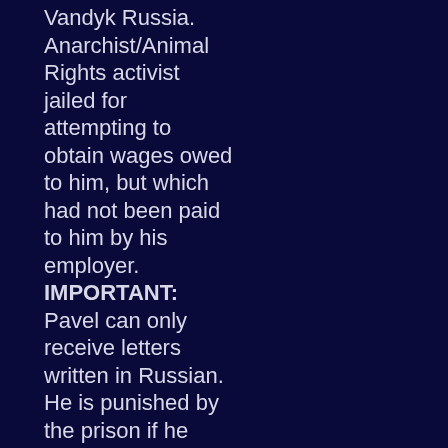Vandyk Russia. Anarchist/Animal Rights activist jailed for attempting to obtain wages owed to him, but which had not been paid to him by his employer. IMPORTANT: Pavel can only receive letters written in Russian. He is punished by the prison if he receives a letter not written in Russian so please, only send letters written in Russian. (Diet unknown).